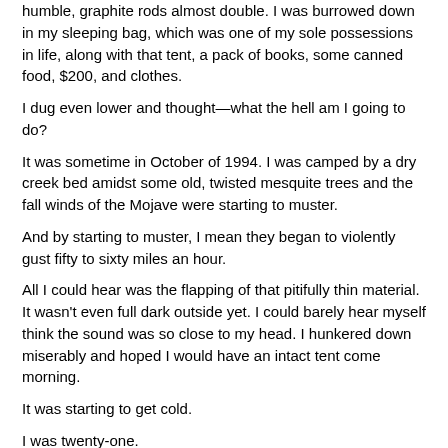humble, graphite rods almost double. I was burrowed down in my sleeping bag, which was one of my sole possessions in life, along with that tent, a pack of books, some canned food, $200, and clothes.
I dug even lower and thought—what the hell am I going to do?
It was sometime in October of 1994. I was camped by a dry creek bed amidst some old, twisted mesquite trees and the fall winds of the Mojave were starting to muster.
And by starting to muster, I mean they began to violently gust fifty to sixty miles an hour.
All I could hear was the flapping of that pitifully thin material. It wasn't even full dark outside yet. I could barely hear myself think the sound was so close to my head. I hunkered down miserably and hoped I would have an intact tent come morning.
It was starting to get cold.
I was twenty-one.
Now how I got to that desert creek bed, in that tent, on that